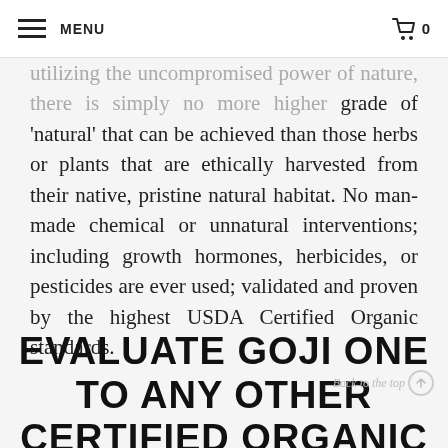MENU  🛒 0
utilizing the uncompromised power of nature, there is simply no more higher grade of 'natural' that can be achieved than those herbs or plants that are ethically harvested from their native, pristine natural habitat. No man-made chemical or unnatural interventions; including growth hormones, herbicides, or pesticides are ever used; validated and proven by the highest USDA Certified Organic standards.
EVALUATE GOJI ONE TO ANY OTHER CERTIFIED ORGANIC